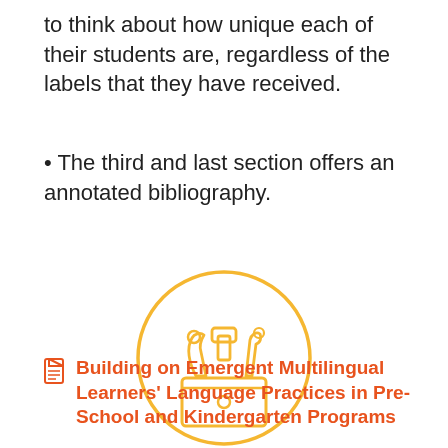to think about how unique each of their students are, regardless of the labels that they have received.
• The third and last section offers an annotated bibliography.
[Figure (illustration): A circular yellow-outlined icon containing a toolbox or basket with tools (wrench, hammer, and other tools) sticking out of it, drawn in an outline style in golden/amber color.]
Building on Emergent Multilingual Learners' Language Practices in Pre-School and Kindergarten Programs